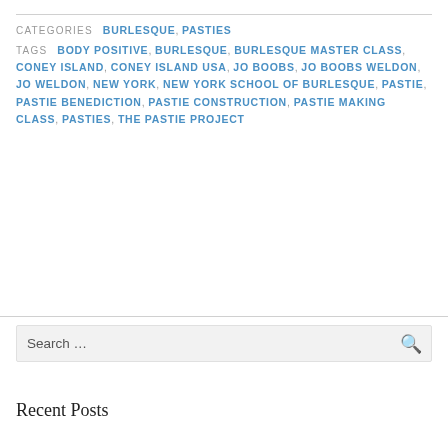CATEGORIES  BURLESQUE, PASTIES
TAGS  BODY POSITIVE, BURLESQUE, BURLESQUE MASTER CLASS, CONEY ISLAND, CONEY ISLAND USA, JO BOOBS, JO BOOBS WELDON, JO WELDON, NEW YORK, NEW YORK SCHOOL OF BURLESQUE, PASTIE, PASTIE BENEDICTION, PASTIE CONSTRUCTION, PASTIE MAKING CLASS, PASTIES, THE PASTIE PROJECT
Search ...
Recent Posts